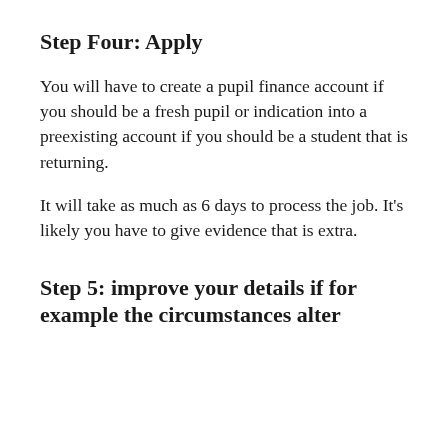Step Four: Apply
You will have to create a pupil finance account if you should be a fresh pupil or indication into a preexisting account if you should be a student that is returning.
It will take as much as 6 days to process the job. It's likely you have to give evidence that is extra.
Step 5: improve your details if for example the circumstances alter